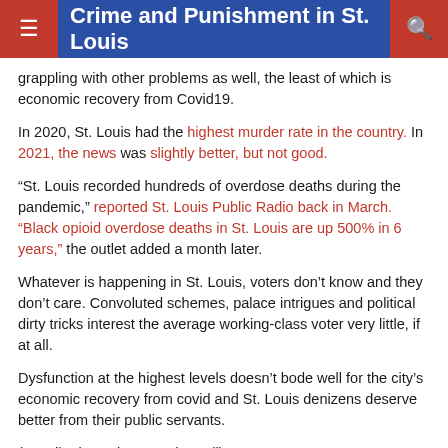Crime and Punishment in St. Louis
grappling with other problems as well, the least of which is economic recovery from Covid19.
In 2020, St. Louis had the highest murder rate in the country. In 2021, the news was slightly better, but not good.
"St. Louis recorded hundreds of overdose deaths during the pandemic," reported St. Louis Public Radio back in March. "Black opioid overdose deaths in St. Louis are up 500% in 6 years," the outlet added a month later.
Whatever is happening in St. Louis, voters don't know and they don't care. Convoluted schemes, palace intrigues and political dirty tricks interest the average working-class voter very little, if at all.
Dysfunction at the highest levels doesn't bode well for the city's economic recovery from covid and St. Louis denizens deserve better from their public servants.
(contributing writer, Brooke Bell)